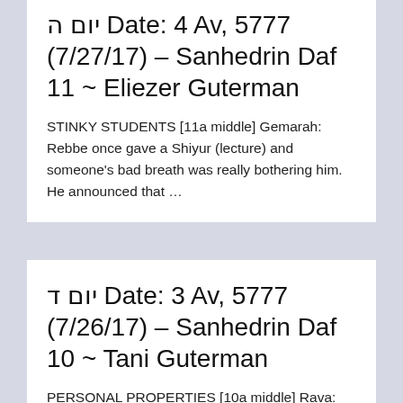יום ה Date: 4 Av, 5777 (7/27/17) – Sanhedrin Daf 11 ~ Eliezer Guterman
STINKY STUDENTS [11a middle] Gemarah: Rebbe once gave a Shiyur (lecture) and someone's bad breath was really bothering him. He announced that …
יום ד Date: 3 Av, 5777 (7/26/17) – Sanhedrin Daf 10 ~ Tani Guterman
PERSONAL PROPERTIES [10a middle] Rava: Although a man is considered related to himself, he is not considered related to his property.